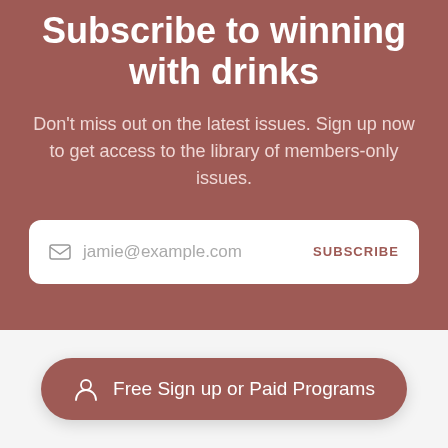Subscribe to winning with drinks
Don't miss out on the latest issues. Sign up now to get access to the library of members-only issues.
[Figure (screenshot): Email subscription input box with envelope icon, placeholder text 'jamie@example.com', and a SUBSCRIBE button on the right]
[Figure (infographic): Rounded pill button with person/user icon and text 'Free Sign up or Paid Programs']